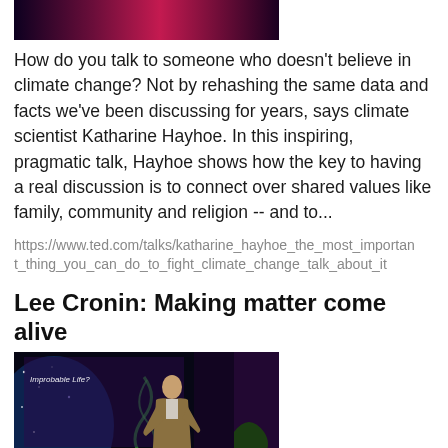[Figure (photo): Partial view of a TED talk presenter on stage with colorful lighting]
How do you talk to someone who doesn't believe in climate change? Not by rehashing the same data and facts we've been discussing for years, says climate scientist Katharine Hayhoe. In this inspiring, pragmatic talk, Hayhoe shows how the key to having a real discussion is to connect over shared values like family, community and religion -- and to...
https://www.ted.com/talks/katharine_hayhoe_the_most_important_thing_you_can_do_to_fight_climate_change_talk_about_it
Lee Cronin: Making matter come alive
[Figure (photo): Lee Cronin speaking on TED stage with 'Improbable Life?' slide behind him, blue and green cosmic background]
Before life existed on Earth, there was just matter, inorganic dead "stuff." How improbable is it that life arose? And -- could it use a different type of chemistry? Using an elegant definiti life (anything that can evolve), chemist Lee Cronin is explo